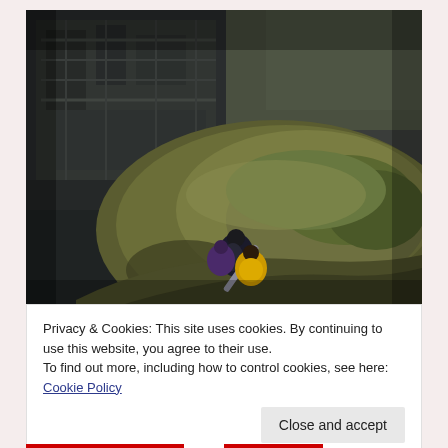[Figure (screenshot): Screenshot of a 3D video game scene showing characters on a mossy rocky outcrop in a dark industrial environment with machinery visible in the background. One character wears yellow clothing and another dark clothing.]
Privacy & Cookies: This site uses cookies. By continuing to use this website, you agree to their use.
To find out more, including how to control cookies, see here: Cookie Policy